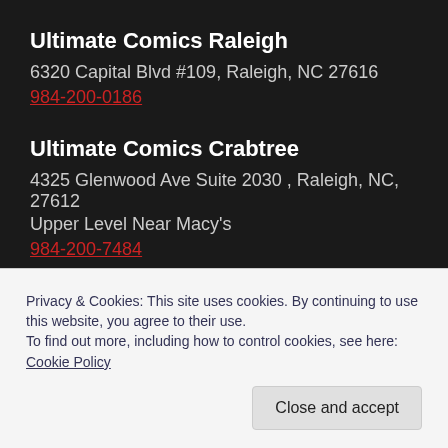Ultimate Comics Raleigh
6320 Capital Blvd #109, Raleigh, NC 27616
984-200-0186
Ultimate Comics Crabtree
4325 Glenwood Ave Suite 2030 , Raleigh, NC, 27612
Upper Level Near Macy's
984-200-7484
Store Hours
Privacy & Cookies: This site uses cookies. By continuing to use this website, you agree to their use.
To find out more, including how to control cookies, see here: Cookie Policy
Close and accept